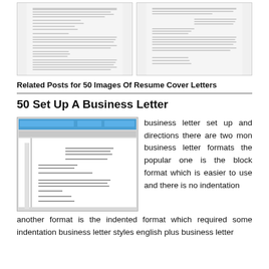[Figure (screenshot): Two thumbnail images of resume cover letter documents side by side]
Related Posts for 50 Images Of Resume Cover Letters
50 Set Up A Business Letter
[Figure (screenshot): Screenshot of a word processor showing a business letter template]
business letter set up and directions there are two mon business letter formats the popular one is the block format which is easier to use and there is no indentation
another format is the indented format which required some indentation business letter styles english plus business letter